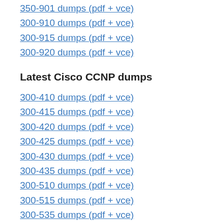350-901 dumps (pdf + vce)
300-910 dumps (pdf + vce)
300-915 dumps (pdf + vce)
300-920 dumps (pdf + vce)
Latest Cisco CCNP dumps
300-410 dumps (pdf + vce)
300-415 dumps (pdf + vce)
300-420 dumps (pdf + vce)
300-425 dumps (pdf + vce)
300-430 dumps (pdf + vce)
300-435 dumps (pdf + vce)
300-510 dumps (pdf + vce)
300-515 dumps (pdf + vce)
300-535 dumps (pdf + vce)
300-610 dumps (pdf + vce)
300-615 dumps (pdf + vce)
300-620 dumps (pdf + vce)